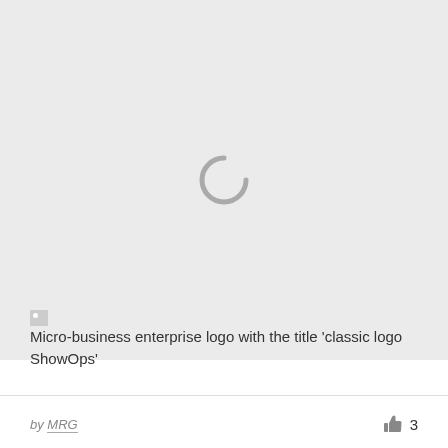[Figure (other): Loading spinner / image placeholder area with a grey circular arc spinner icon centered on a light grey background]
Micro-business enterprise logo with the title 'classic logo ShowOps'
by MRG   👍 3